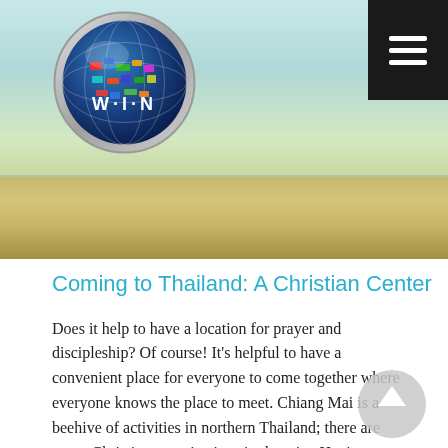[Figure (logo): WIN globe logo with world flags and text W·I·N in white]
[Figure (photo): Blurred nature banner strip with warm golden-green tones]
Coming to Thailand: A Christian Center
Does it help to have a location for prayer and discipleship? Of course! It's helpful to have a convenient place for everyone to come together where everyone knows the place to meet. Chiang Mai is a beehive of activities in northern Thailand; there are many Christian organizations in that city. Having a place [...]
[Figure (other): Scroll-to-top button — grey circle with white upward arrow]